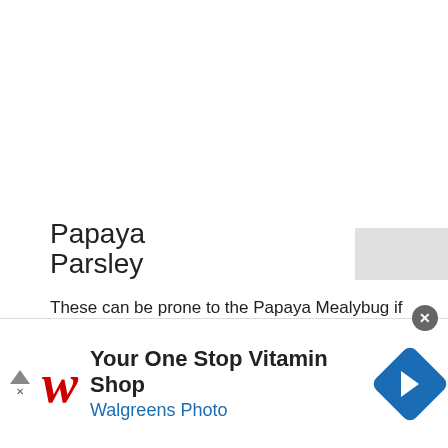Papaya
These can be prone to the Papaya Mealybug if they're likely to come in contact with it. Otherwise certainly Aphids might be interested. [dwarf hovey bonsai seeds here on amazon]
Parsley
[Figure (other): Advertisement banner for Walgreens Photo: 'Your One Stop Vitamin Shop' with Walgreens logo, navigation icon, and close button]